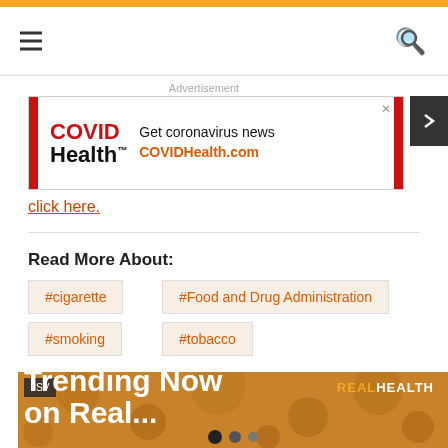Navigation header with hamburger menu and search icon
[Figure (screenshot): Advertisement banner for COVIDHealth.com with COVID Health logo, text 'Get coronavirus news COVIDHealth.com']
click here.
Read More About:
#cigarette
#Food and Drug Administration
#smoking
#tobacco
[Figure (photo): Trending Now on Real Health promotional banner with orange background and circular patterns, JSV badge, Real Health logo]